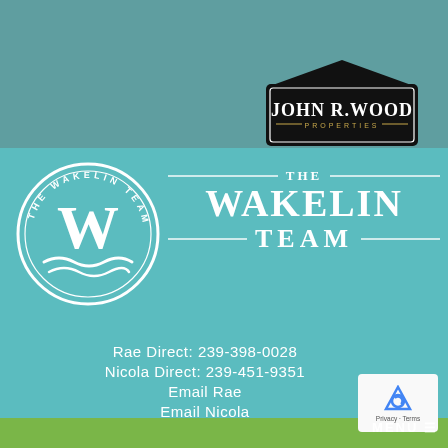[Figure (logo): John R. Wood Properties logo — black house-shaped badge with gold 'PROPERTIES' text]
[Figure (logo): The Wakelin Team circular logo with W emblem and wave design]
THE WAKELIN TEAM
Rae Direct: 239-398-0028
Nicola Direct: 239-451-9351
Email Rae
Email Nicola